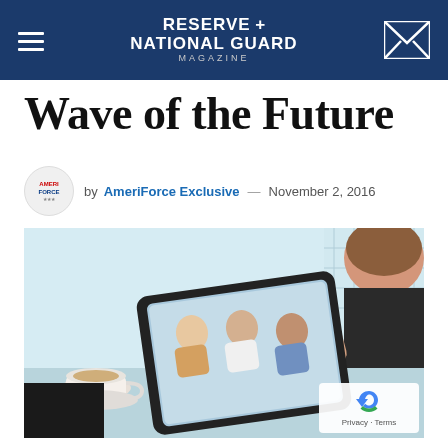RESERVE + NATIONAL GUARD MAGAZINE
Wave of the Future
by AmeriForce Exclusive — November 2, 2016
[Figure (photo): Person holding a tablet showing a video conference with three people seated at a table; a coffee cup is visible on the left side of the desk.]